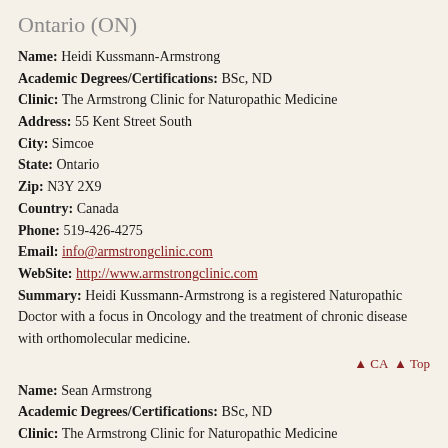Ontario (ON)
Name: Heidi Kussmann-Armstrong
Academic Degrees/Certifications: BSc, ND
Clinic: The Armstrong Clinic for Naturopathic Medicine
Address: 55 Kent Street South
City: Simcoe
State: Ontario
Zip: N3Y 2X9
Country: Canada
Phone: 519-426-4275
Email: info@armstrongclinic.com
WebSite: http://www.armstrongclinic.com
Summary: Heidi Kussmann-Armstrong is a registered Naturopathic Doctor with a focus in Oncology and the treatment of chronic disease with orthomolecular medicine.
▲ CA ▲ Top
Name: Sean Armstrong
Academic Degrees/Certifications: BSc, ND
Clinic: The Armstrong Clinic for Naturopathic Medicine
Address: 518 Broadway
City: Tillsonburg
State: Ontario